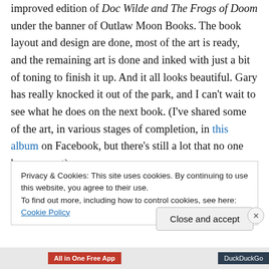improved edition of Doc Wilde and The Frogs of Doom under the banner of Outlaw Moon Books. The book layout and design are done, most of the art is ready, and the remaining art is done and inked with just a bit of toning to finish it up. And it all looks beautiful. Gary has really knocked it out of the park, and I can't wait to see what he does on the next book. (I've shared some of the art, in various stages of completion, in this album on Facebook, but there's still a lot that no one has seen yet).
Privacy & Cookies: This site uses cookies. By continuing to use this website, you agree to their use. To find out more, including how to control cookies, see here: Cookie Policy
Close and accept